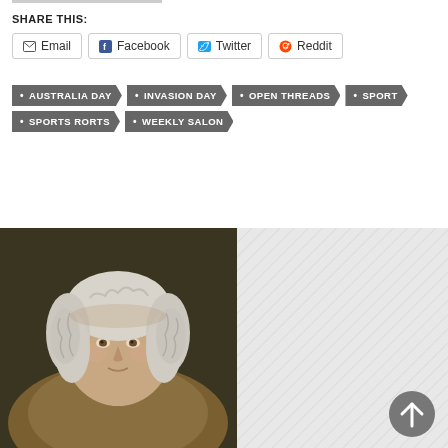SHARE THIS:
Email
Facebook
Twitter
Reddit
AUSTRALIA DAY
INVASION DAY
OPEN THREADS
SPORT
SPORTS RORTS
WEEKLY SALON
[Figure (photo): Portrait painting of a man with white curly wig, wearing historical clothing, likely 18th century style]
[Figure (other): Diagonal hatched grey pattern background with scroll-to-top button (dark circular arrow up)]